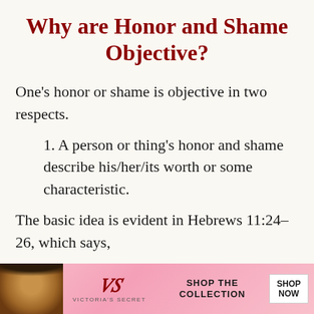Why are Honor and Shame Objective?
One's honor or shame is objective in two respects.
1. A person or thing's honor and shame describe his/her/its worth or some characteristic.
The basic idea is evident in Hebrews 11:24–26, which says,
“By faith Moses, when he was grown
[Figure (photo): Victoria's Secret advertisement banner with a woman's photo, VS logo, 'Shop the Collection' text, and a 'Shop Now' button]